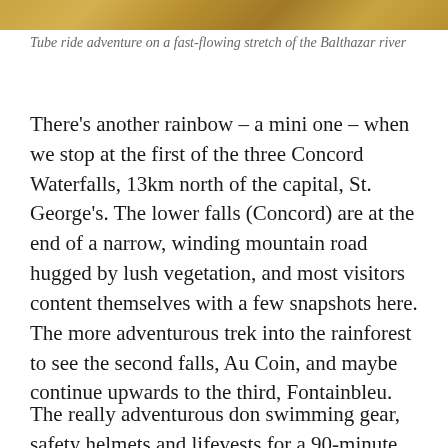[Figure (photo): Partial view of a tube ride adventure on a fast-flowing river, showing yellow tubes on water — only the top portion visible as a strip at the top of the page.]
Tube ride adventure on a fast-flowing stretch of the Balthazar river
There's another rainbow – a mini one – when we stop at the first of the three Concord Waterfalls, 13km north of the capital, St. George's. The lower falls (Concord) are at the end of a narrow, winding mountain road hugged by lush vegetation, and most visitors content themselves with a few snapshots here. The more adventurous trek into the rainforest to see the second falls, Au Coin, and maybe continue upwards to the third, Fontainbleu.
The really adventurous don swimming gear, safety helmets and lifevests for a 90-minute